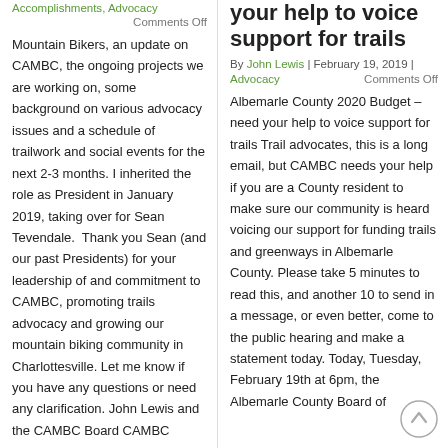Accomplishments, Advocacy
Comments Off
Mountain Bikers, an update on CAMBC, the ongoing projects we are working on, some background on various advocacy issues and a schedule of trailwork and social events for the next 2-3 months. I inherited the role as President in January 2019, taking over for Sean Tevendale. Thank you Sean (and our past Presidents) for your leadership of and commitment to CAMBC, promoting trails advocacy and growing our mountain biking community in Charlottesville. Let me know if you have any questions or need any clarification. John Lewis and the CAMBC Board CAMBC
your help to voice support for trails
By John Lewis | February 19, 2019 |
Advocacy
Comments Off
Albemarle County 2020 Budget – need your help to voice support for trails Trail advocates, this is a long email, but CAMBC needs your help if you are a County resident to make sure our community is heard voicing our support for funding trails and greenways in Albemarle County. Please take 5 minutes to read this, and another 10 to send in a message, or even better, come to the public hearing and make a statement today. Today, Tuesday, February 19th at 6pm, the Albemarle County Board of